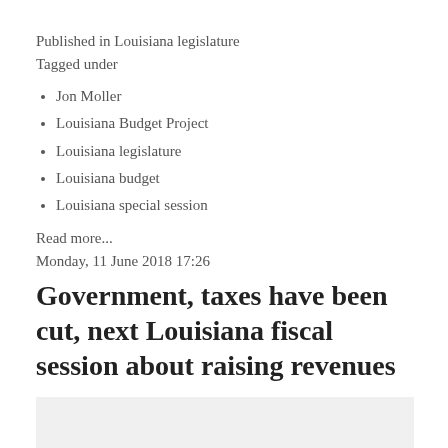Published in Louisiana legislature
Tagged under
Jon Moller
Louisiana Budget Project
Louisiana legislature
Louisiana budget
Louisiana special session
Read more...
Monday, 11 June 2018 17:26
Government, taxes have been cut, next Louisiana fiscal session about raising revenues
[Figure (other): Gray placeholder image area]